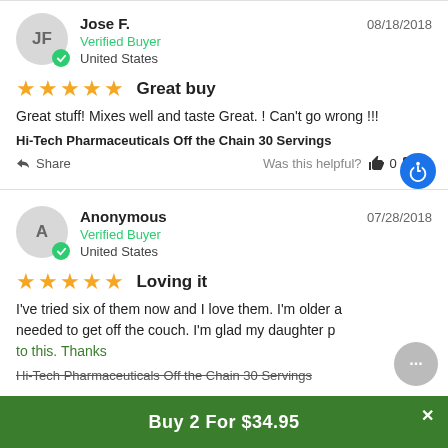Jose F. — 08/18/2018 — Verified Buyer — United States
★★★★★  Great buy
Great stuff! Mixes well and taste Great. ! Can't go wrong !!!
Hi-Tech Pharmaceuticals Off the Chain 30 Servings
Share — Was this helpful? 👍 0 👎 0
Anonymous — 07/28/2018 — Verified Buyer — United States
★★★★★  Loving it
I've tried six of them now and I love them. I'm older a... needed to get off the couch. I'm glad my daughter p... to this. Thanks
Hi-Tech Pharmaceuticals Off the Chain 30 Servings
Buy 2 For $34.95